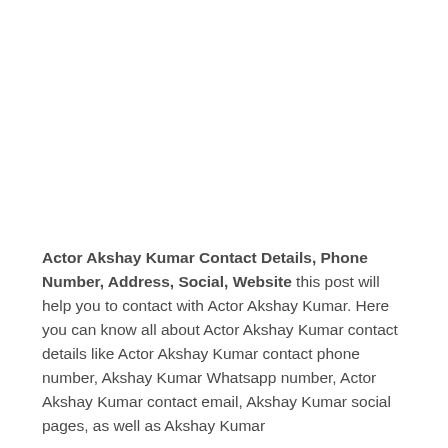Actor Akshay Kumar Contact Details, Phone Number, Address, Social, Website this post will help you to contact with Actor Akshay Kumar. Here you can know all about Actor Akshay Kumar contact details like Actor Akshay Kumar contact phone number, Akshay Kumar Whatsapp number, Actor Akshay Kumar contact email, Akshay Kumar social pages, as well as Akshay Kumar